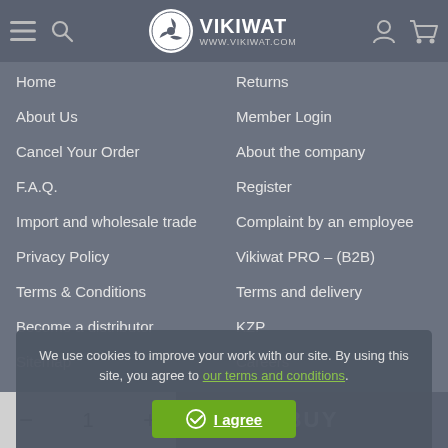VIKIWAT WWW.VIKIWAT.COM
Home
Returns
About Us
Member Login
Cancel Your Order
About the company
F.A.Q.
Register
Import and wholesale trade
Complaint by an employee
Privacy Policy
Vikiwat PRO – (B2B)
Terms & Conditions
Terms and delivery
Become a distributor
KZP
Sitemap
Careers
We use cookies to improve your work with our site. By using this site, you agree to our terms and conditions.
I agree